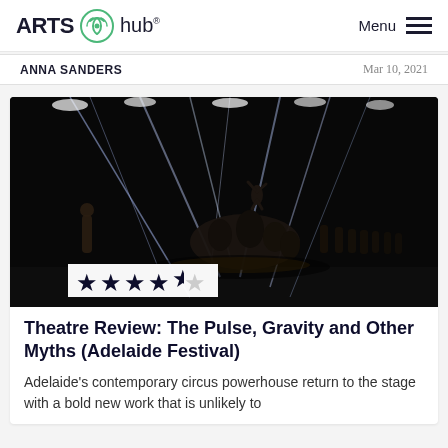ARTS hub® Menu
ANNA SANDERS   Mar 10, 2021
[Figure (photo): Dark stage performance photo showing acrobats/circus performers with dramatic stage lighting beams crossing from above. A figure is elevated above a group of performers clustered on stage. Dark, high-contrast theatrical lighting.]
Theatre Review: The Pulse, Gravity and Other Myths (Adelaide Festival)
Adelaide's contemporary circus powerhouse return to the stage with a bold new work that is unlikely to